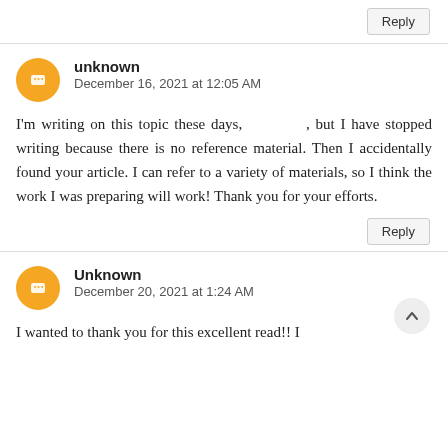Reply
unknown
December 16, 2021 at 12:05 AM
I'm writing on this topic these days, , but I have stopped writing because there is no reference material. Then I accidentally found your article. I can refer to a variety of materials, so I think the work I was preparing will work! Thank you for your efforts.
Reply
Unknown
December 20, 2021 at 1:24 AM
I wanted to thank you for this excellent read!! I